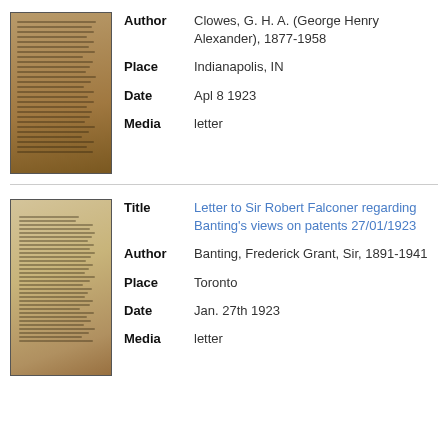[Figure (photo): Thumbnail image of an aged handwritten or typed letter document, yellowish-brown in color]
Author	Clowes, G. H. A. (George Henry Alexander), 1877-1958
Place	Indianapolis, IN
Date	Apl 8 1923
Media	letter
[Figure (photo): Thumbnail image of a typed letter document on aged yellowish paper]
Title	Letter to Sir Robert Falconer regarding Banting's views on patents 27/01/1923
Author	Banting, Frederick Grant, Sir, 1891-1941
Place	Toronto
Date	Jan. 27th 1923
Media	letter